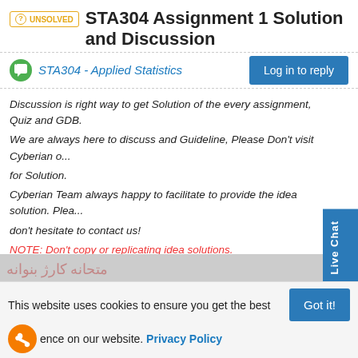UNSOLVED STA304 Assignment 1 Solution and Discussion
STA304 - Applied Statistics
Log in to reply
Discussion is right way to get Solution of the every assignment, Quiz and GDB.
We are always here to discuss and Guideline, Please Don't visit Cyberian o... for Solution.
Cyberian Team always happy to facilitate to provide the idea solution. Plea... don't hesitate to contact us!
NOTE: Don't copy or replicating idea solutions.
Quiz Copy Solution
Mid and Final Past Papers
Live Chat
0
Live Chat
This website uses cookies to ensure you get the best experience on our website. Privacy Policy
Got it!